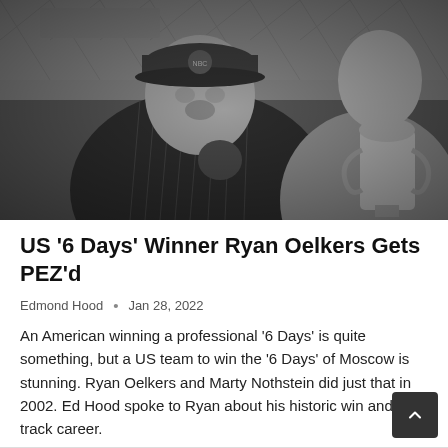[Figure (photo): Black and white photograph of two men near a chain-link fence. An older man wearing a baseball cap with NBC Olympics logo and a pinstripe jersey with a Blue Jays bird logo is in the foreground. A younger man holding a large trophy cup is visible on the right side.]
US '6 Days' Winner Ryan Oelkers Gets PEZ'd
Edmond Hood  •  Jan 28, 2022
An American winning a professional '6 Days' is quite something, but a US team to win the '6 Days' of Moscow is stunning. Ryan Oelkers and Marty Nothstein did just that in 2002. Ed Hood spoke to Ryan about his historic win and his track career.